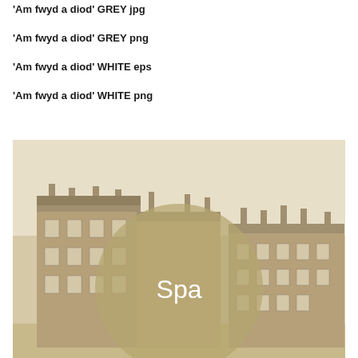'Am fwyd a diod' GREY jpg
'Am fwyd a diod' GREY png
'Am fwyd a diod' WHITE eps
'Am fwyd a diod' WHITE png
[Figure (photo): Black and white historical photograph of a large Victorian building/hotel with multiple chimneys and wings. A large semi-transparent olive/tan colored circle is overlaid on the center of the photo with the word 'Spa' written in white text inside the circle.]